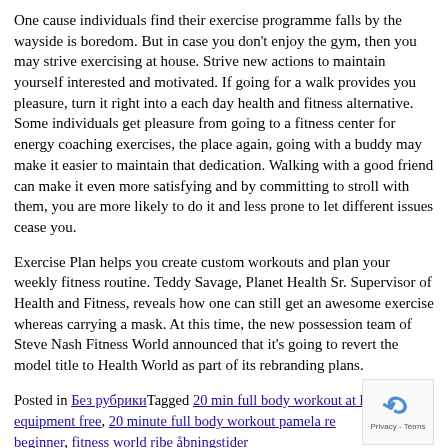One cause individuals find their exercise programme falls by the wayside is boredom. But in case you don't enjoy the gym, then you may strive exercising at house. Strive new actions to maintain yourself interested and motivated. If going for a walk provides you pleasure, turn it right into a each day health and fitness alternative. Some individuals get pleasure from going to a fitness center for energy coaching exercises, the place again, going with a buddy may make it easier to maintain that dedication. Walking with a good friend can make it even more satisfying and by committing to stroll with them, you are more likely to do it and less prone to let different issues cease you.
Exercise Plan helps you create custom workouts and plan your weekly fitness routine. Teddy Savage, Planet Health Sr. Supervisor of Health and Fitness, reveals how one can still get an awesome exercise whereas carrying a mask. At this time, the new possession team of Steve Nash Fitness World announced that it's going to revert the model title to Health World as part of its rebranding plans.
Posted in Без рубрикиTagged 20 min full body workout at home & equipment free, 20 minute full body workout pamela re beginner, fitness world ribe åbningstider